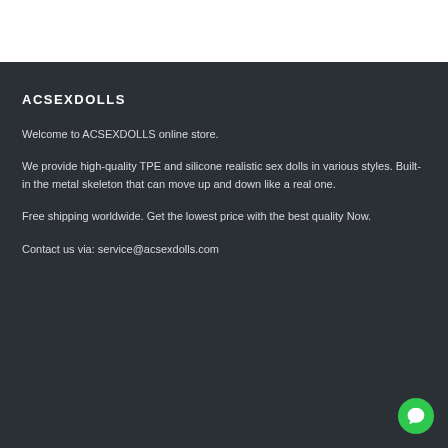ACSEXDOLLS
Welcome to ACSEXDOLLS online store.
We provide high-quality TPE and silicone realistic sex dolls in various styles. Built-in the metal skeleton that can move up and down like a real one.
Free shipping worldwide. Get the lowest price with the best quality Now.
Contact us via: service@acsexdolls.com